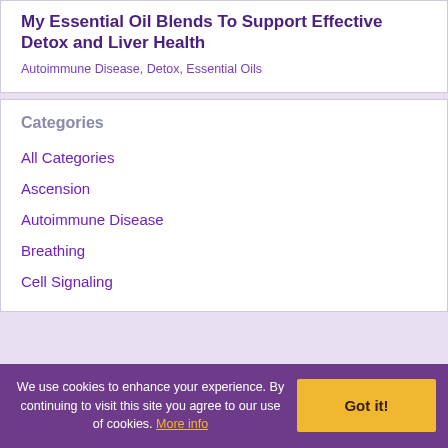My Essential Oil Blends To Support Effective Detox and Liver Health
Autoimmune Disease, Detox, Essential Oils
Categories
All Categories
Ascension
Autoimmune Disease
Breathing
Cell Signaling
We use cookies to enhance your experience. By continuing to visit this site you agree to our use of cookies. More info
Got it!